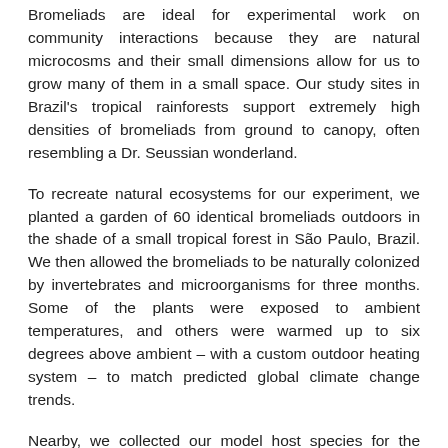Bromeliads are ideal for experimental work on community interactions because they are natural microcosms and their small dimensions allow for us to grow many of them in a small space. Our study sites in Brazil's tropical rainforests support extremely high densities of bromeliads from ground to canopy, often resembling a Dr. Seussian wonderland.
To recreate natural ecosystems for our experiment, we planted a garden of 60 identical bromeliads outdoors in the shade of a small tropical forest in São Paulo, Brazil. We then allowed the bromeliads to be naturally colonized by invertebrates and microorganisms for three months. Some of the plants were exposed to ambient temperatures, and others were warmed up to six degrees above ambient – with a custom outdoor heating system – to match predicted global climate change trends.
Nearby, we collected our model host species for the experiment – tadpoles of the treefrog species Ololygon perpusilla that breed only in the mini-aquariums created by the leaves of bromeliads.